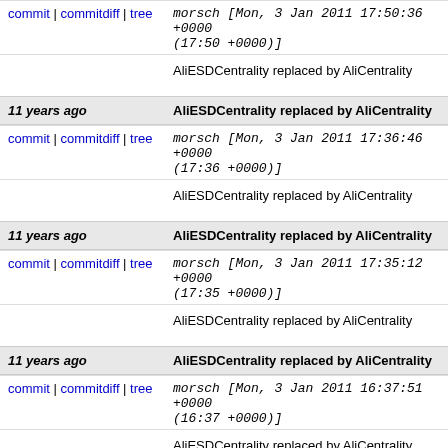commit | commitdiff | tree morsch [Mon, 3 Jan 2011 17:50:36 +0000 (17:50 +0000)]
AliESDCentrality replaced by AliCentrality
11 years ago  AliESDCentrality replaced by AliCentrality
commit | commitdiff | tree morsch [Mon, 3 Jan 2011 17:36:46 +0000 (17:36 +0000)]
AliESDCentrality replaced by AliCentrality
11 years ago  AliESDCentrality replaced by AliCentrality
commit | commitdiff | tree morsch [Mon, 3 Jan 2011 17:35:12 +0000 (17:35 +0000)]
AliESDCentrality replaced by AliCentrality
11 years ago  AliESDCentrality replaced by AliCentrality
commit | commitdiff | tree morsch [Mon, 3 Jan 2011 16:37:51 +0000 (16:37 +0000)]
AliESDCentrality replaced by AliCentrality
11 years ago  AliESDCentrality replaced by AliCentrality